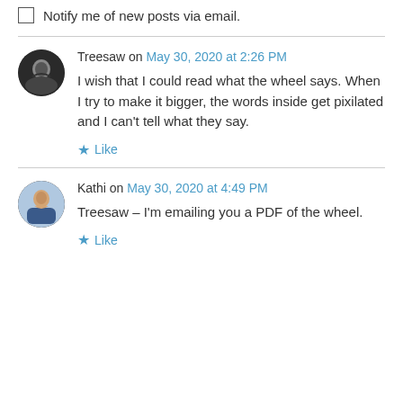Notify me of new posts via email.
Treesaw on May 30, 2020 at 2:26 PM
I wish that I could read what the wheel says. When I try to make it bigger, the words inside get pixilated and I can't tell what they say.
★ Like
Kathi on May 30, 2020 at 4:49 PM
Treesaw – I'm emailing you a PDF of the wheel.
★ Like